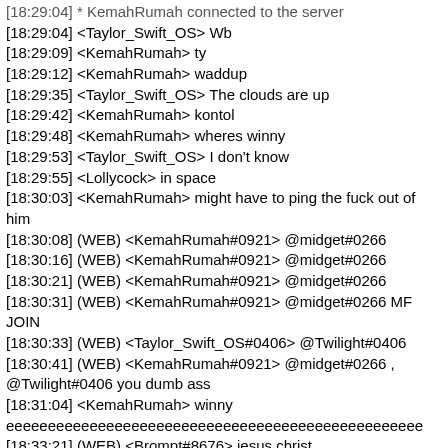[18:29:04] * KemahRumah connected to the server
[18:29:04] <Taylor_Swift_OS> Wb
[18:29:09] <KemahRumah> ty
[18:29:12] <KemahRumah> waddup
[18:29:35] <Taylor_Swift_OS> The clouds are up
[18:29:42] <KemahRumah> kontol
[18:29:48] <KemahRumah> wheres winny
[18:29:53] <Taylor_Swift_OS> I don't know
[18:29:55] <Lollycock> in space
[18:30:03] <KemahRumah> might have to ping the fuck out of him
[18:30:08] (WEB) <KemahRumah#0921> @midget#0266
[18:30:16] (WEB) <KemahRumah#0921> @midget#0266
[18:30:21] (WEB) <KemahRumah#0921> @midget#0266
[18:30:31] (WEB) <KemahRumah#0921> @midget#0266 MF JOIN
[18:30:33] (WEB) <Taylor_Swift_OS#0406> @Twilight#0406
[18:30:41] (WEB) <KemahRumah#0921> @midget#0266 , @Twilight#0406 you dumb ass
[18:31:04] <KemahRumah> winny eeeeeeeeeeeeeeeeeeeeeeeeeeeeeeeeeeeeeeeeeeeeeeeeee
[18:33:21] (WEB) <Brompt#8676> jesus christ
[18:33:29] <Lollycock> what>
[18:33:31] <Lollycock> ?
[18:33:47] (WEB) <Brompt#8676> twi's spam
[18:33:49] <KemahRumah> hadeh